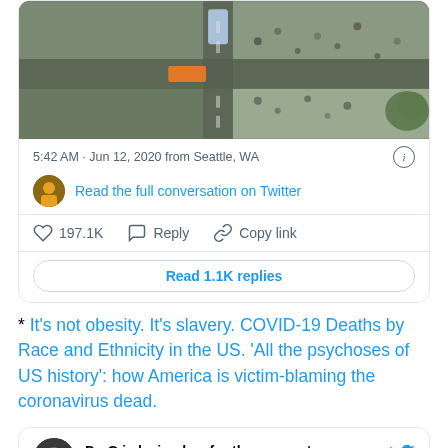[Figure (photo): Aerial view of street intersection with vehicles and people visible from above]
5:42 AM · Jun 12, 2020 from Seattle, WA
Read the full conversation on Twitter
197.1K   Reply   Copy link
Read 1.1K replies
* It's not obesity. It's slavery. COVID-19 Deaths by Race and Ethnicity in the US. 'All the psychoses of US history': how America is victim-blaming the coronavirus dead.
Dr. G is laying low for the moment @AmeliaNGibson · Follow